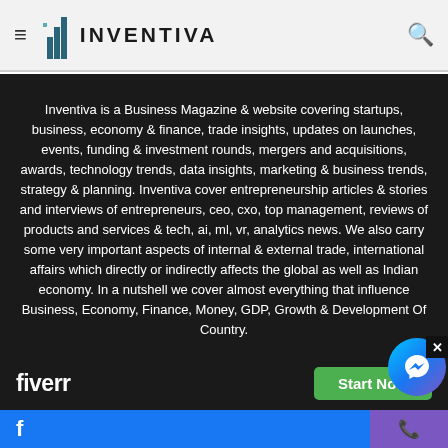≡ INVENTIVA 🔍
Inventiva is a Business Magazine & website covering startups, business, economy & finance, trade insights, updates on launches, events, funding & investment rounds, mergers and acquisitions, awards, technology trends, data insights, marketing & business trends, strategy & planning. Inventiva cover entrepreneurship articles & stories and interviews of entrepreneurs, ceo, cxo, top management, reviews of products and services & tech, ai, ml, vr, analytics news. We also carry some very important aspects of internal & external trade, international affairs which directly or indirectly affects the global as well as Indian economy. In a nutshell we cover almost everything that influence Business, Economy, Finance, Money, GDP, Growth & Development Of Country.
Contact Us: info@inventiva.co.in
[Figure (screenshot): Fiverr advertisement banner with Start Now button]
Facebook icon | Phone icon